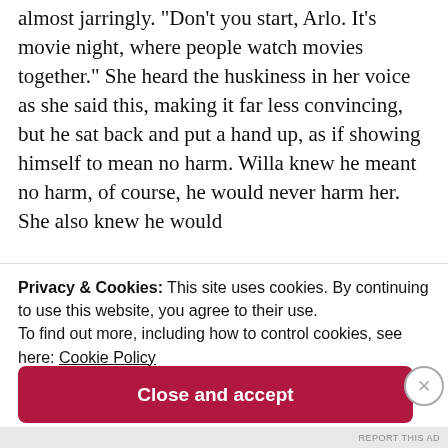almost jarringly. "Don't you start, Arlo. It's movie night, where people watch movies together." She heard the huskiness in her voice as she said this, making it far less convincing, but he sat back and put a hand up, as if showing himself to mean no harm. Willa knew he meant no harm, of course, he would never harm her. She also knew he would
Privacy & Cookies: This site uses cookies. By continuing to use this website, you agree to their use.
To find out more, including how to control cookies, see here: Cookie Policy
Close and accept